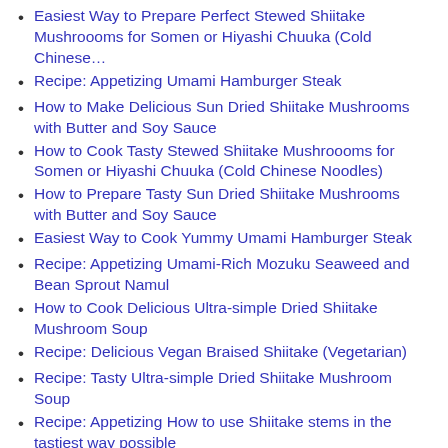Easiest Way to Prepare Perfect Stewed Shiitake Mushroooms for Somen or Hiyashi Chuuka (Cold Chinese…
Recipe: Appetizing Umami Hamburger Steak
How to Make Delicious Sun Dried Shiitake Mushrooms with Butter and Soy Sauce
How to Cook Tasty Stewed Shiitake Mushroooms for Somen or Hiyashi Chuuka (Cold Chinese Noodles)
How to Prepare Tasty Sun Dried Shiitake Mushrooms with Butter and Soy Sauce
Easiest Way to Cook Yummy Umami Hamburger Steak
Recipe: Appetizing Umami-Rich Mozuku Seaweed and Bean Sprout Namul
How to Cook Delicious Ultra-simple Dried Shiitake Mushroom Soup
Recipe: Delicious Vegan Braised Shiitake (Vegetarian)
Recipe: Tasty Ultra-simple Dried Shiitake Mushroom Soup
Recipe: Appetizing How to use Shiitake stems in the tastiest way possible